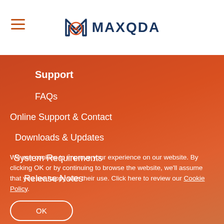[Figure (logo): MAXQDA logo with M icon in orange/dark blue and text MAXQDA in dark navy]
Support
FAQs
Online Support & Contact
Downloads & Updates
System Requirements
Release Notes
We use cookies to improve your experience on our website. By clicking OK or by continuing to browse the website, we'll assume that you are happy with their use. Click here to review our Cookie Policy.
OK